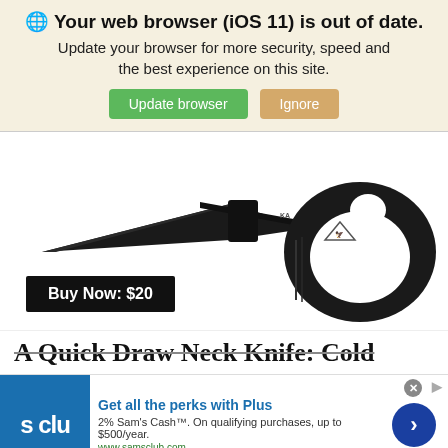🌐 Your web browser (iOS 11) is out of date. Update your browser for more security, speed and the best experience on this site.
Update browser | Ignore
[Figure (photo): Black neck knife with a ring handle, shown against a white background]
Buy Now: $20
A Quick Draw Neck Knife: Cold...
[Figure (screenshot): Sam's Club advertisement: Get all the perks with Plus. 2% Sam's Cash™. On qualifying purchases, up to $500/year. www.samsclub.com]